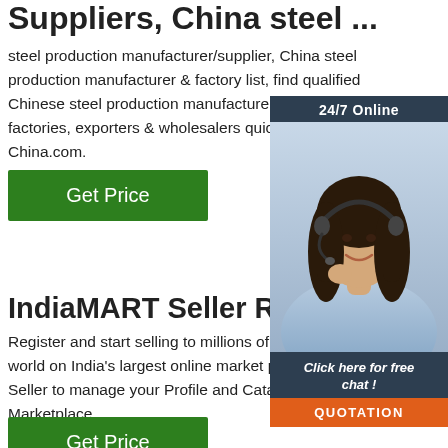Suppliers, China steel ...
steel production manufacturer/supplier, China steel production manufacturer & factory list, find qualified Chinese steel production manufacturers, suppliers, factories, exporters & wholesalers quickly on Made-in-China.com.
[Figure (other): Green 'Get Price' button]
[Figure (photo): Chat widget with woman wearing headset, '24/7 Online' header, 'Click here for free chat!' text, and orange QUOTATION button]
IndiaMART Seller Registra...
Register and start selling to millions of buyers across the world on India's largest online market place. Login as a Seller to manage your Profile and Catalog at IndiaMART Marketplace
[Figure (other): Green 'Get Price' button]